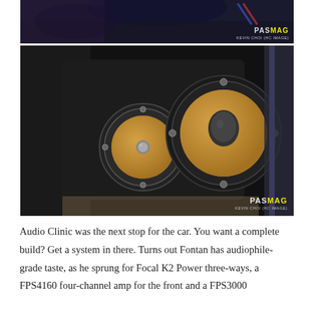[Figure (photo): Two stacked car interior photos showing custom speaker installations. Top photo shows a partial view of speakers/interior. Bottom photo shows a black alcantara door panel with two Focal K2 Power speakers (a smaller and a larger one with tan/gold cones) mounted flush.]
Audio Clinic was the next stop for the car. You want a complete build? Get a system in there. Turns out Fontan has audiophile-grade taste, as he sprung for Focal K2 Power three-ways, a FPS4160 four-channel amp for the front and a FPS3000